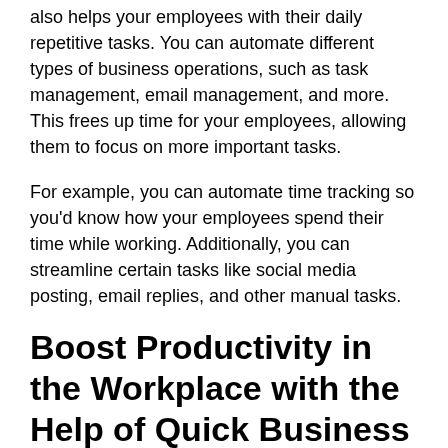also helps your employees with their daily repetitive tasks. You can automate different types of business operations, such as task management, email management, and more. This frees up time for your employees, allowing them to focus on more important tasks.
For example, you can automate time tracking so you'd know how your employees spend their time while working. Additionally, you can streamline certain tasks like social media posting, email replies, and other manual tasks.
Boost Productivity in the Workplace with the Help of Quick Business Loans
With the right technology, you'll be able to